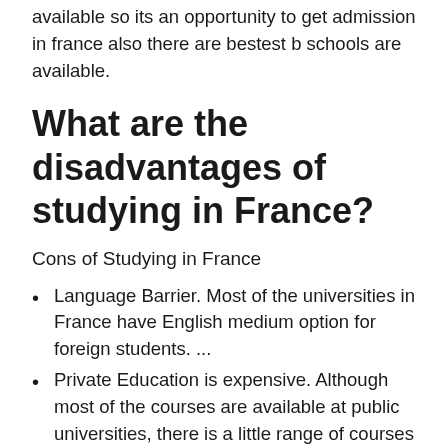available so its an opportunity to get admission in france also there are bestest b schools are available.
What are the disadvantages of studying in France?
Cons of Studying in France
Language Barrier. Most of the universities in France have English medium option for foreign students. ...
Private Education is expensive. Although most of the courses are available at public universities, there is a little range of courses only available at private colleges. ...
Expensive Living.